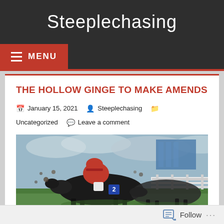Steeplechasing
THE HOLLOW GINGE TO MAKE AMENDS
January 15, 2021   Steeplechasing   Uncategorized   Leave a comment
[Figure (photo): Jockey in red and white silks riding a dark horse during a steeplechase race, with mud flying and other horses visible, white rail fencing and cloudy sky in background]
Follow ...